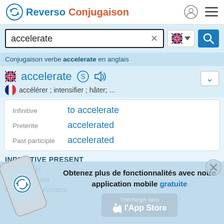Reverso Conjugaison
accelerate
Conjugaison verbe accelerate en anglais
accelerate — accélérer ; intensifier ; hâter; ...
| Form | Value |
| --- | --- |
| Infinitive | to accelerate |
| Preterite | accelerated |
| Past participle | accelerated |
INDICATIVE PRESENT
I accelerate
you accelerate
he/she/it accelerates
Obtenez plus de fonctionnalités avec notre application mobile gratuite
[Figure (screenshot): App Store download button for Reverso mobile app]